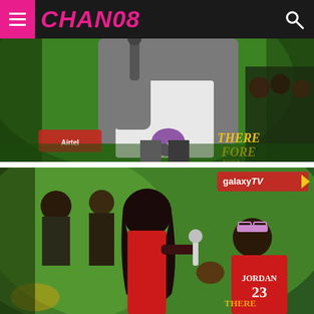CHANO8
[Figure (photo): Concert performance photo: person in grey cardigan and white t-shirt holding a microphone on a green-lit stage, with 'THEREFORE' text watermark in bottom right corner]
[Figure (photo): Concert performance photo: woman in red outfit singing into microphone on green-lit stage with another person in red Jordan 23 shirt beside her; Galaxy TV logo watermark in top right]